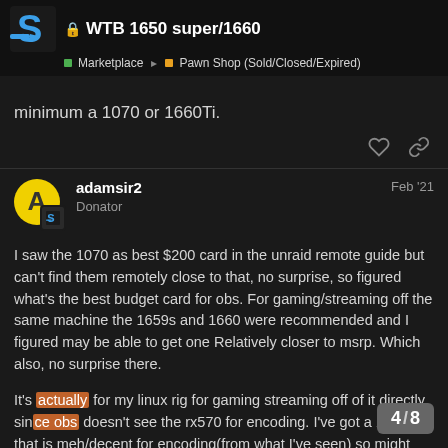WTB 1650 super/1660 — Marketplace > Pawn Shop (Sold/Closed/Expired)
minimum a 1070 or 1660Ti.
adamsir2   Feb '21
Donator
I saw the 1070 as best $200 card in the unraid remote guide but can't find them remotely close to that, no surprise, so figured what's the best budget card for obs. For gaming/streaming off the same machine the 1659s and 1660 were recommended and I figured may be able to get one Relatively closer to msrp. Which also, no surprise there.
It's actually for my linux rig for gaming streaming off of it directly since obs doesn't see the rx570 for encoding. I've got a 1050ti that is meh/decent for encoding(from what I've seen) so might use that or a p400 and a capture card and box with some spares I've got.
4 / 8